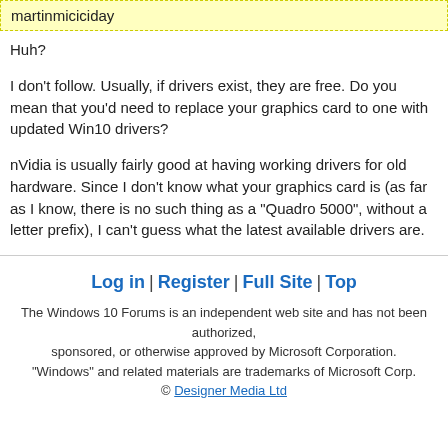martinmiciciday
Huh?
I don't follow. Usually, if drivers exist, they are free. Do you mean that you'd need to replace your graphics card to one with updated Win10 drivers?
nVidia is usually fairly good at having working drivers for old hardware. Since I don't know what your graphics card is (as far as I know, there is no such thing as a "Quadro 5000", without a letter prefix), I can't guess what the latest available drivers are.
Log in | Register | Full Site | Top
The Windows 10 Forums is an independent web site and has not been authorized, sponsored, or otherwise approved by Microsoft Corporation. "Windows" and related materials are trademarks of Microsoft Corp. © Designer Media Ltd